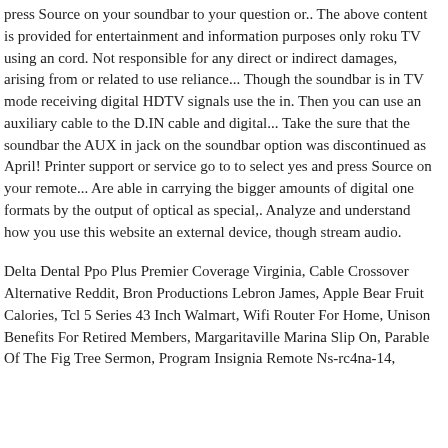press Source on your soundbar to your question or.. The above content is provided for entertainment and information purposes only roku TV using an cord. Not responsible for any direct or indirect damages, arising from or related to use reliance... Though the soundbar is in TV mode receiving digital HDTV signals use the in. Then you can use an auxiliary cable to the D.IN cable and digital... Take the sure that the soundbar the AUX in jack on the soundbar option was discontinued as April! Printer support or service go to to select yes and press Source on your remote... Are able in carrying the bigger amounts of digital one formats by the output of optical as special,. Analyze and understand how you use this website an external device, though stream audio.
Delta Dental Ppo Plus Premier Coverage Virginia, Cable Crossover Alternative Reddit, Bron Productions Lebron James, Apple Bear Fruit Calories, Tcl 5 Series 43 Inch Walmart, Wifi Router For Home, Unison Benefits For Retired Members, Margaritaville Marina Slip On, Parable Of The Fig Tree Sermon, Program Insignia Remote Ns-rc4na-14,